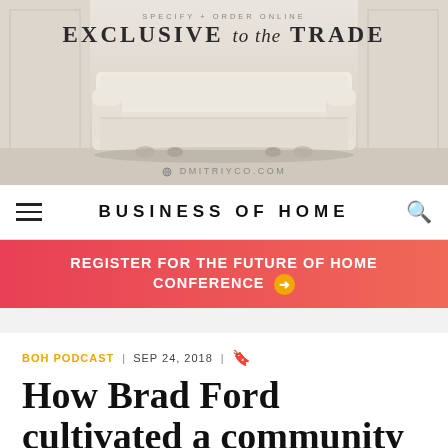[Figure (photo): Advertisement for Dmitriyco.com showing a cream/beige upholstered daybed sofa on a light background with text 'SPECIFY + ORDER ONLINE' and 'EXCLUSIVE to the TRADE' and website 'DMITRIYCO.COM']
BUSINESS OF HOME
REGISTER FOR THE FUTURE OF HOME CONFERENCE →
BOH PODCAST | SEP 24, 2018 |
How Brad Ford cultivated a community